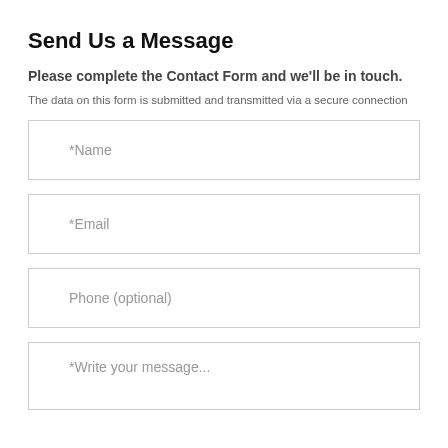Send Us a Message
Please complete the Contact Form and we'll be in touch.
The data on this form is submitted and transmitted via a secure connection
*Name
*Email
Phone (optional)
*Write your message...